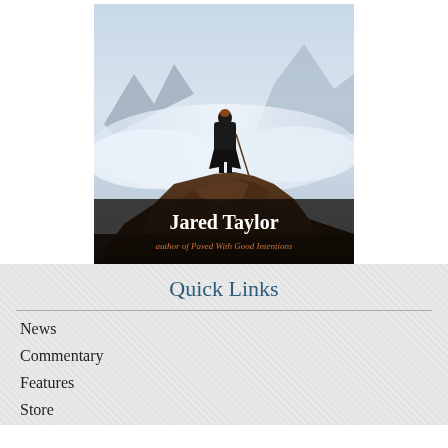[Figure (illustration): Book cover showing Caspar David Friedrich's 'Wanderer above the Sea of Fog' painting with a figure in a black coat standing on a rocky peak overlooking misty mountains. Text overlay reads 'Jared Taylor' and 'author of Paved With Good Intentions' in italic.]
Quick Links
News
Commentary
Features
Store